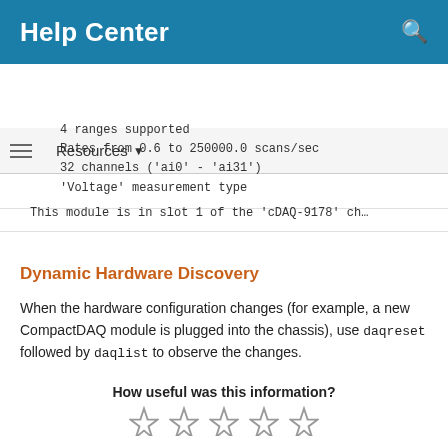Help Center
Resources ▼
4 ranges supported
Rates from 0.6 to 250000.0 scans/sec
32 channels ('ai0' - 'ai31')
'Voltage' measurement type
This module is in slot 1 of the 'cDAQ-9178' ch…
Dynamic Hardware Discovery
When the hardware configuration changes (for example, a new CompactDAQ module is plugged into the chassis), use daqreset followed by daqlist to observe the changes.
How useful was this information?